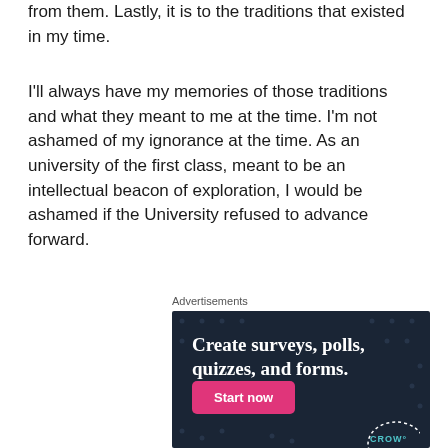from them. Lastly, it is to the traditions that existed in my time.
I'll always have my memories of those traditions and what they meant to me at the time. I'm not ashamed of my ignorance at the time. As an university of the first class, meant to be an intellectual beacon of exploration, I would be ashamed if the University refused to advance forward.
Advertisements
[Figure (infographic): Advertisement banner with dark navy background and dot pattern. Text reads: 'Create surveys, polls, quizzes, and forms.' with a pink 'Start now' button and a Crowd logo in the bottom right corner.]